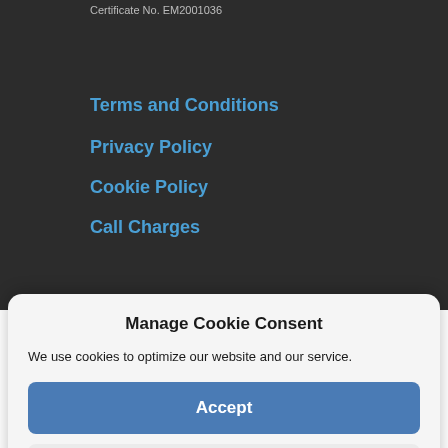Certificate No. EM2001036
Terms and Conditions
Privacy Policy
Cookie Policy
Call Charges
Manage Cookie Consent
We use cookies to optimize our website and our service.
Accept
Deny
Preferences
Cookie Policy   Privacy Policy